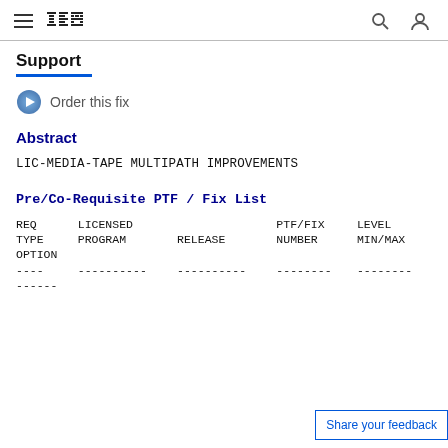IBM Support
Support
Order this fix
Abstract
LIC-MEDIA-TAPE MULTIPATH IMPROVEMENTS
Pre/Co-Requisite PTF / Fix List
| REQ TYPE OPTION | LICENSED PROGRAM | RELEASE | PTF/FIX NUMBER | LEVEL MIN/MAX |
| --- | --- | --- | --- | --- |
| ---- | ---------- | ---------- | -------- | -------- |
| ------ |  |  |  |  |
Share your feedback